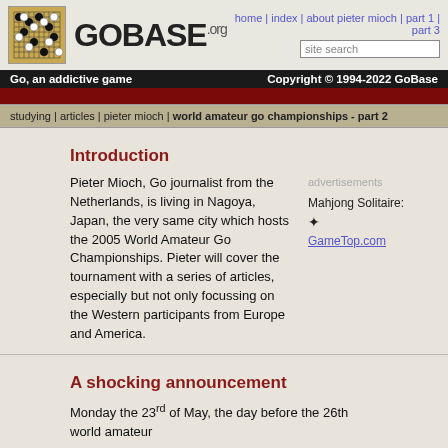[Figure (logo): GoBase.org logo with Go board image and site name]
home | index | about pieter mioch | part 1 | part 3
site search
Go, an addictive game    Copyright © 1994-2022 GoBase
studying | articles | pieter mioch | world amateur go championships - part 2
Introduction
Pieter Mioch, Go journalist from the Netherlands, is living in Nagoya, Japan, the very same city which hosts the 2005 World Amateur Go Championships. Pieter will cover the tournament with a series of articles, especially but not only focussing on the Western participants from Europe and America.
advertisements
Mahjong Solitaire:
✦
GameTop.com
A shocking announcement
Monday the 23rd of May, the day before the 26th world amateur